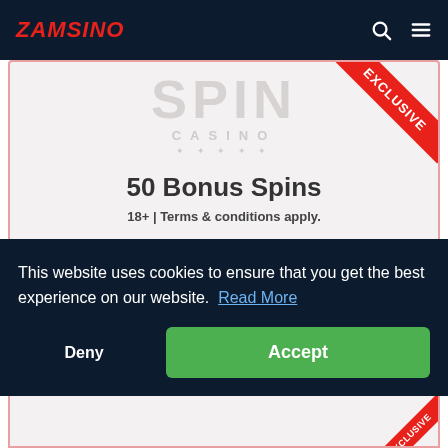ZAMSINO
[Figure (logo): Spin Casino watermark logo with SPIN in large letters and CASINO below]
50 Bonus Spins
18+ | Terms & conditions apply.
$1 Min. Deposit
Atlantean Treasures Mega Moolah
This website uses cookies to ensure that you get the best experience on our website. Read More
Deny
Accept